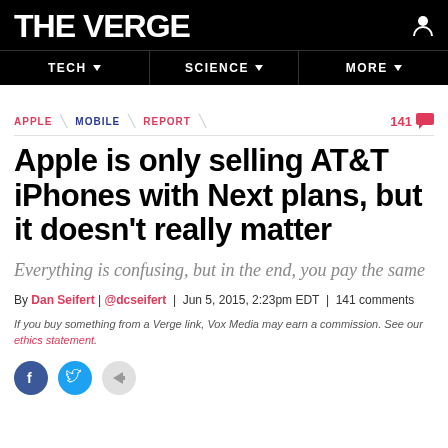THE VERGE | TECH | SCIENCE | MORE
APPLE / MOBILE / REPORT | 141 comments
Apple is only selling AT&T iPhones with Next plans, but it doesn't really matter
Everything is confusing, but in the end, you pay the same
By Dan Seifert | @dcseifert | Jun 5, 2015, 2:23pm EDT | 141 comments
If you buy something from a Verge link, Vox Media may earn a commission. See our ethics statement.